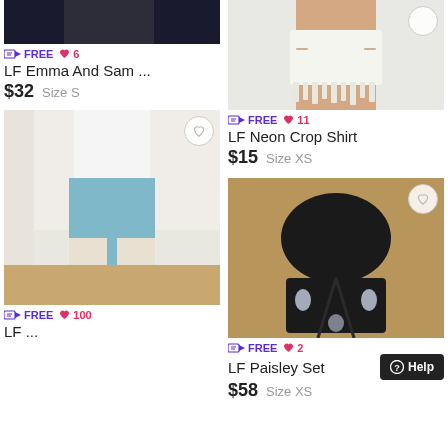[Figure (photo): Cropped product photo of jeans/pants item - left column top]
FREE ♥ 6
LF Emma And Sam ...
$32  Size S
[Figure (photo): Person wearing white crop top and teal ripped jeans]
FREE ♥ 100
LF ...
[Figure (photo): Person wearing white denim cutoff shorts - right column top]
FREE ♥ 11
LF Neon Crop Shirt
$15  Size XS
[Figure (photo): Black paisley two-piece set laid flat on wooden floor]
FREE ♥ 2
LF Paisley Set
$58  Size XS